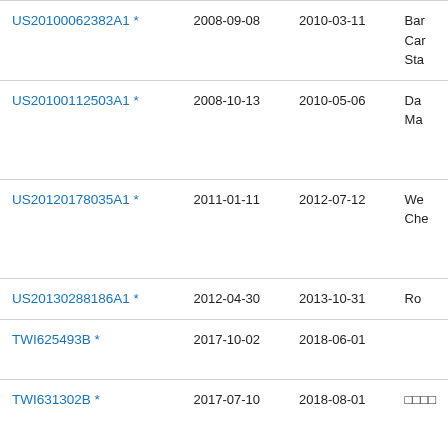| Patent | Filed | Published | Assignee (partial) |
| --- | --- | --- | --- |
| US20100062382A1 * | 2008-09-08 | 2010-03-11 | Bar Car Sta |
| US20100112503A1 * | 2008-10-13 | 2010-05-06 | Da Ma |
| US20120178035A1 * | 2011-01-11 | 2012-07-12 | We Che |
| US20130288186A1 * | 2012-04-30 | 2013-10-31 | Ro |
| TWI625493B * | 2017-10-02 | 2018-06-01 |  |
| TWI631302B * | 2017-07-10 | 2018-08-01 | □□□□ |